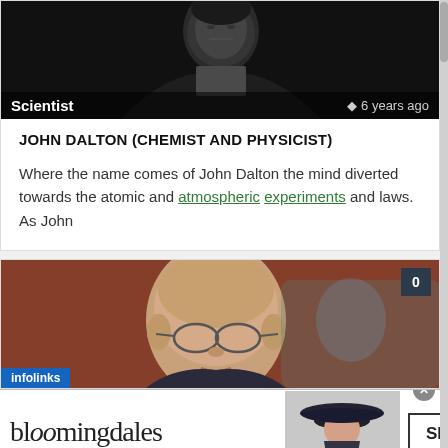[Figure (photo): Black and white portrait photo of John Dalton, a scientist from the 19th century, wearing dark formal attire]
Scientist    6 years ago
JOHN DALTON (CHEMIST AND PHYSICIST)
Where the name comes of John Dalton the mind diverted towards the atomic and atmospheric experiments and laws. As John
[Figure (photo): Color photo of a bald man wearing glasses, with a reddish/warm background. Badge showing '0' in top-right corner. Infolinks bar at bottom-left.]
[Figure (other): Bloomingdale's advertisement banner: 'bloomingdales / View Today's Top Deals!' with a woman in a hat and SHOP NOW > button]